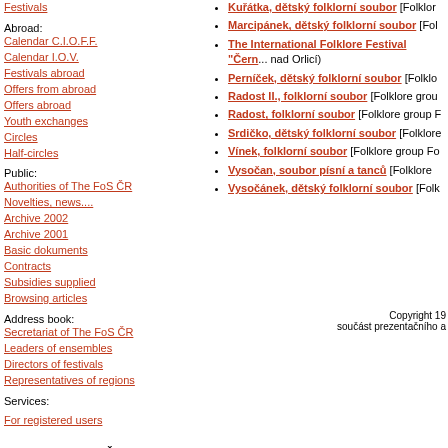Festivals
Abroad:
Calendar C.I.O.F.F.
Calendar I.O.V.
Festivals abroad
Offers from abroad
Offers abroad
Youth exchanges
Circles
Half-circles
Public:
Authorities of The FoS ČR
Novelties, news....
Archive 2002
Archive 2001
Basic dokuments
Contracts
Subsidies supplied
Browsing articles
Address book:
Secretariat of The FoS ČR
Leaders of ensembles
Directors of festivals
Representatives of regions
Services:
For registered users
DOPORUČUJEME
Kuřátka, dětský folklorní soubor [Folklor...
Marcipánek, dětský folklorní soubor [Fol...
The International Folklore Festival "Čern... nad Orlicí)
Perníček, dětský folklorní soubor [Folklo...
Radost II., folklorní soubor [Folklore grou...
Radost, folklorní soubor [Folklore group F...
Srdičko, dětský folklorní soubor [Folklore...
Vínek, folklorní soubor [Folklore group Fo...
Vysočan, soubor písní a tanců [Folklore ...
Vysočánek, dětský folklorní soubor [Folk...
Copyright 19... součást prezentačního a...